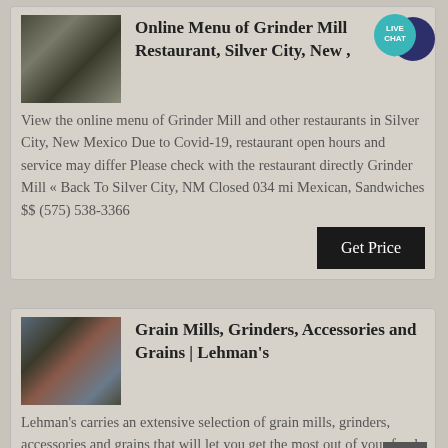[Figure (photo): Industrial grinder mill machinery photo - thumbnail for first card]
Online Menu of Grinder Mill Restaurant, Silver City, New ,
View the online menu of Grinder Mill and other restaurants in Silver City, New Mexico Due to Covid-19, restaurant open hours and service may differ Please check with the restaurant directly Grinder Mill « Back To Silver City, NM Closed 034 mi Mexican, Sandwiches $$ (575) 538-3366
[Figure (infographic): Live Chat speech bubble badge icon]
[Figure (photo): Industrial grain mill grinder machinery photo - thumbnail for second card]
Grain Mills, Grinders, Accessories and Grains | Lehman's
Lehman's carries an extensive selection of grain mills, grinders, accessories and grains that will let you get the most out of your food Our grain grinder mill assortment ranges